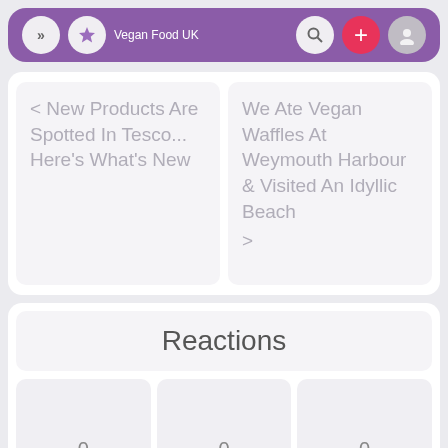Vegan Food UK
< New Products Are Spotted In Tesco... Here's What's New
We Ate Vegan Waffles At Weymouth Harbour & Visited An Idyllic Beach >
Reactions
0
0
0